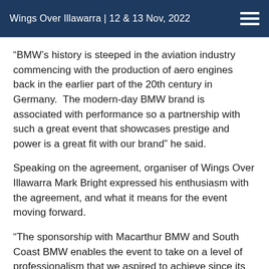Wings Over Illawarra | 12 & 13 Nov, 2022
“BMW’s history is steeped in the aviation industry commencing with the production of aero engines back in the earlier part of the 20th century in Germany.  The modern-day BMW brand is associated with performance so a partnership with such a great event that showcases prestige and power is a great fit with our brand” he said.
Speaking on the agreement, organiser of Wings Over Illawarra Mark Bright expressed his enthusiasm with the agreement, and what it means for the event moving forward.
“The sponsorship with Macarthur BMW and South Coast BMW enables the event to take on a level of professionalism that we aspired to achieve since its conception. Along with ensuring financial stability